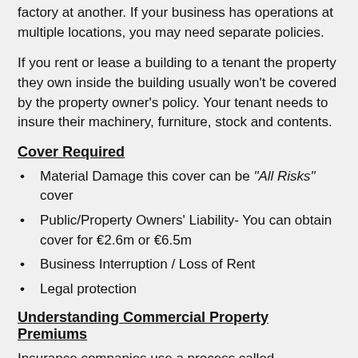factory at another. If your business has operations at multiple locations, you may need separate policies.
If you rent or lease a building to a tenant the property they own inside the building usually won't be covered by the property owner's policy. Your tenant needs to insure their machinery, furniture, stock and contents.
Cover Required
Material Damage this cover can be “All Risks” cover
Public/Property Owners’ Liability- You can obtain cover for €2.6m or €6.5m
Business Interruption / Loss of Rent
Legal protection
Understanding Commercial Property Premiums
Insurance companies use a process called underwriting to determine the frequency and the likelihood of a possible property claim.